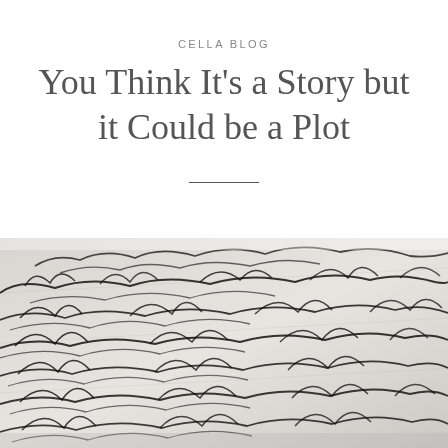CELLA BLOG
You Think It's a Story but it Could be a Plot
[Figure (photo): Close-up black and white photograph of antique cursive handwritten text on paper, showing old-style script writing in ink]